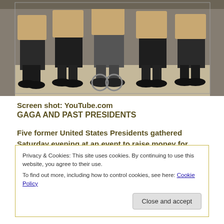[Figure (photo): Group of five people seated in chairs, view from waist down showing dark pants and dress shoes on a light carpeted floor.]
Screen shot: YouTube.com
GAGA AND PAST PRESIDENTS
Five former United States Presidents gathered Saturday evening at an event to raise money for disaster relief, which was a very good thing.
Privacy & Cookies: This site uses cookies. By continuing to use this website, you agree to their use.
To find out more, including how to control cookies, see here: Cookie Policy
Close and accept